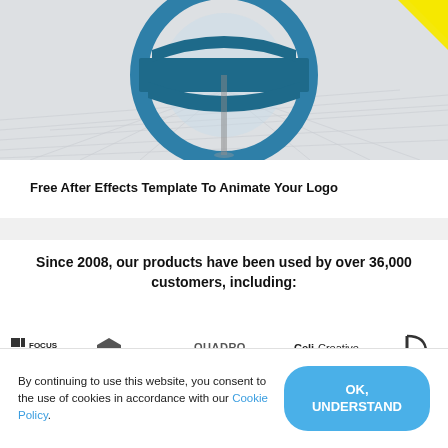[Figure (illustration): 3D blue sphere/logo graphic with geometric ring shapes on a light grey background, with a yellow triangle corner badge in the top right]
Free After Effects Template To Animate Your Logo
Since 2008, our products have been used by over 36,000 customers, including:
[Figure (logo): Row of customer logos: Focus Footage, explainify, QUADRO tech, CeliCreative, and a monogram logo]
By continuing to use this website, you consent to the use of cookies in accordance with our Cookie Policy.